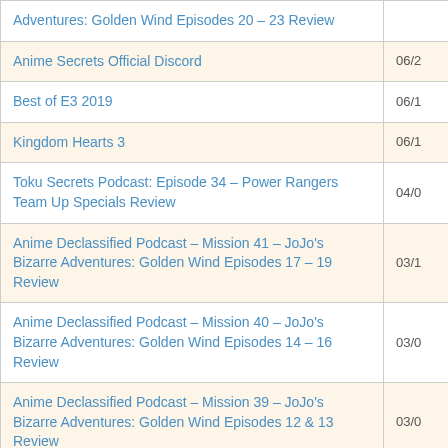| Title | Date |
| --- | --- |
| Adventures: Golden Wind Episodes 20 – 23 Review |  |
| Anime Secrets Official Discord | 06/2 |
| Best of E3 2019 | 06/1 |
| Kingdom Hearts 3 | 06/1 |
| Toku Secrets Podcast: Episode 34 – Power Rangers Team Up Specials Review | 04/0 |
| Anime Declassified Podcast – Mission 41 – JoJo's Bizarre Adventures: Golden Wind Episodes 17 – 19 Review | 03/1 |
| Anime Declassified Podcast – Mission 40 – JoJo's Bizarre Adventures: Golden Wind Episodes 14 – 16 Review | 03/0 |
| Anime Declassified Podcast – Mission 39 – JoJo's Bizarre Adventures: Golden Wind Episodes 12 & 13 Review | 03/0 |
| Anime Declassified Podcast – Mission 38 – JoJo's Bizarre Adventures: Golden Wind Episodes 10 & 11 Review | 02/1 |
| Game of the Year 2018 | 01/2 |
| Power Morphicon 2019: Angio Diaz Exclusive Interview | 01/0 |